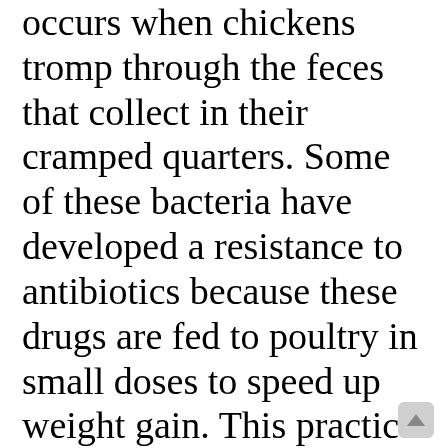occurs when chickens tromp through the feces that collect in their cramped quarters. Some of these bacteria have developed a resistance to antibiotics because these drugs are fed to poultry in small doses to speed up weight gain. This practice kills off susceptible bacteria and allows those with natural resistance to thrive.